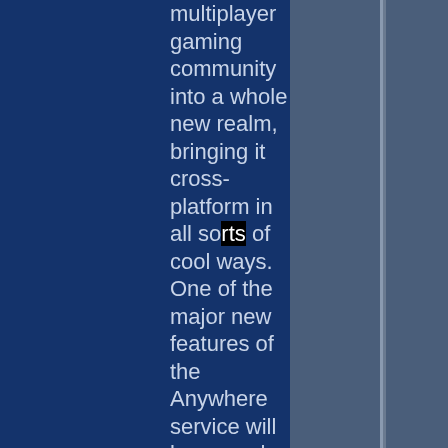multiplayer gaming community into a whole new realm, bringing it cross-platform in all sorts of cool ways. One of the major new features of the Anywhere service will be a much expanded Xbox Live Arcade, which will offer games on almost every mobile